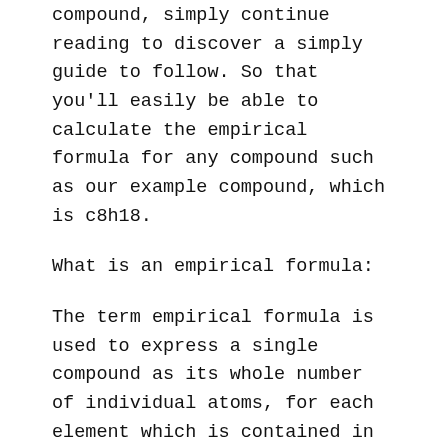compound, simply continue reading to discover a simply guide to follow. So that you'll easily be able to calculate the empirical formula for any compound such as our example compound, which is c8h18.
What is an empirical formula:
The term empirical formula is used to express a single compound as its whole number of individual atoms, for each element which is contained in a compound. It's important to note that each compound will boast a different empirical formula to its molecular formula. So you shouldn't expect the two formulas to be identical or to give the same exact result.